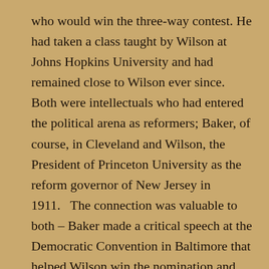who would win the three-way contest. He had taken a class taught by Wilson at Johns Hopkins University and had remained close to Wilson ever since. Both were intellectuals who had entered the political arena as reformers; Baker, of course, in Cleveland and Wilson, the President of Princeton University as the reform governor of New Jersey in 1911.   The connection was valuable to both – Baker made a critical speech at the Democratic Convention in Baltimore that helped Wilson win the nomination and Wilson would invite Baker, in several instances to become part of his Presidential administration. Although Baker